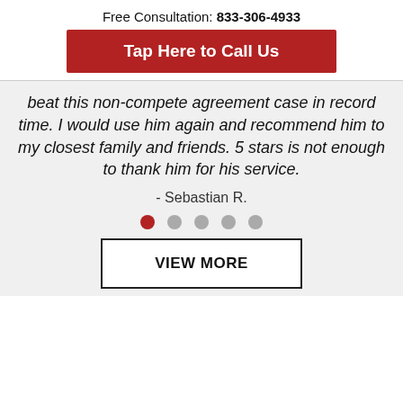Free Consultation: 833-306-4933
Tap Here to Call Us
beat this non-compete agreement case in record time. I would use him again and recommend him to my closest family and friends. 5 stars is not enough to thank him for his service.
- Sebastian R.
[Figure (other): Carousel pagination dots: 5 dots, first one active (red), rest gray]
VIEW MORE